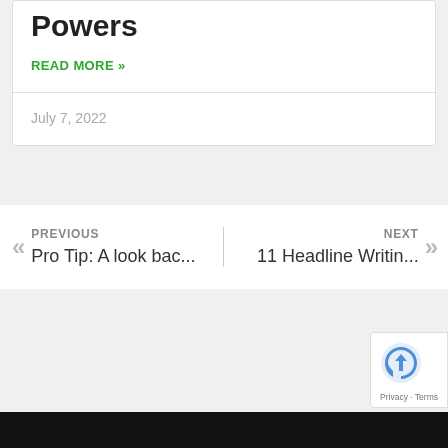Powers
READ MORE »
July 7, 2022
« PREVIOUS
Pro Tip: A look bac...
NEXT »
11 Headline Writin...